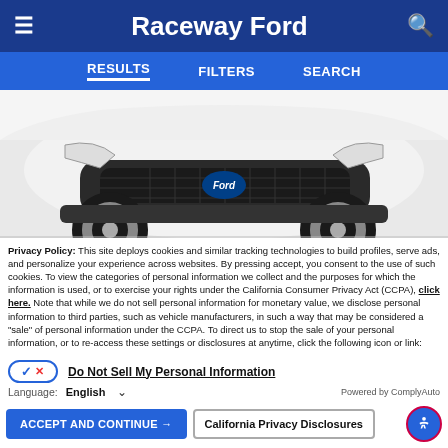Raceway Ford
RESULTS  FILTERS  SEARCH
[Figure (photo): Front view of a white Ford Escape SUV cropped to show the front fascia, grille, headlights, and wheels against a white background.]
Privacy Policy: This site deploys cookies and similar tracking technologies to build profiles, serve ads, and personalize your experience across websites. By pressing accept, you consent to the use of such cookies. To view the categories of personal information we collect and the purposes for which the information is used, or to exercise your rights under the California Consumer Privacy Act (CCPA), click here. Note that while we do not sell personal information for monetary value, we disclose personal information to third parties, such as vehicle manufacturers, in such a way that may be considered a "sale" of personal information under the CCPA. To direct us to stop the sale of your personal information, or to re-access these settings or disclosures at anytime, click the following icon or link:
Do Not Sell My Personal Information
Language: English  Powered by ComplyAuto
ACCEPT AND CONTINUE →   California Privacy Disclosures